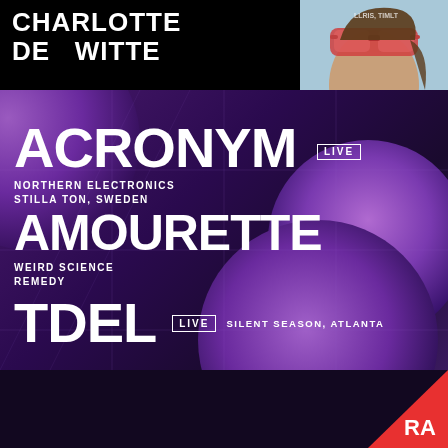CHARLOTTE DE WITTE
ACRONYM LIVE
NORTHERN ELECTRONICS
STILLA TON, SWEDEN
AMOURETTE
WEIRD SCIENCE
REMEDY
TDEL LIVE
SILENT SEASON, ATLANTA
@ MARKET HOTEL
1140 MYRTLE AVE
THEBUNKERNY.COM